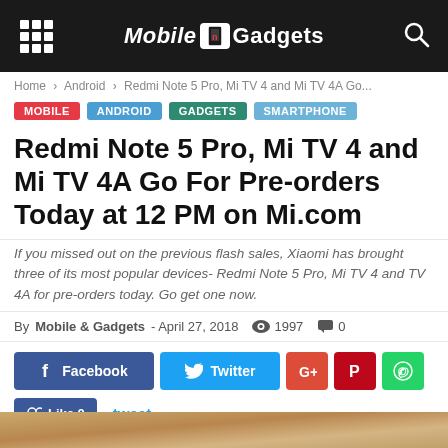Mobile & Gadgets
Home › Android › Redmi Note 5 Pro, Mi TV 4 and Mi TV 4A Go...
MOBILE
ANDROID
GADGETS
SMARTPHONE
Redmi Note 5 Pro, Mi TV 4 and Mi TV 4A Go For Pre-orders Today at 12 PM on Mi.com
If you missed out on the previous flash sales, Xiaomi has brought three of its most popular devices- Redmi Note 5 Pro, Mi TV 4 and TV 4A for pre-orders today. Go get one now.
By Mobile & Gadgets - April 27, 2018  1997  0